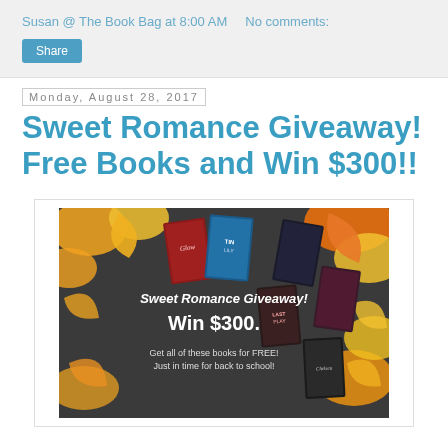Susan @ The Book Bag at 8:00 AM    No comments:
Share
Monday, August 28, 2017
Sweet Romance Giveaway! Free Books and Win $300!!
[Figure (photo): Sweet Romance Giveaway promotional image showing book covers against a fall leaves background with text: 'Sweet Romance Giveaway! Win $300. Get all of these books for FREE! Just in time for back to school!']
Here is an exciting opportunity I was asked to share for Cami